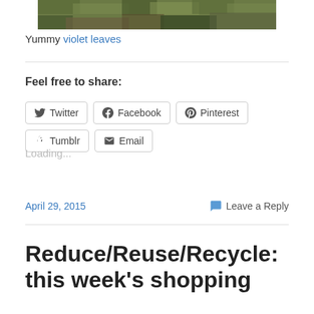[Figure (photo): Partial photo of violet leaves / grass, cropped at top]
Yummy violet leaves
Feel free to share:
[Figure (screenshot): Social share buttons: Twitter, Facebook, Pinterest, Tumblr, Email]
Loading...
April 29, 2015   Leave a Reply
Reduce/Reuse/Recycle: this week's shopping